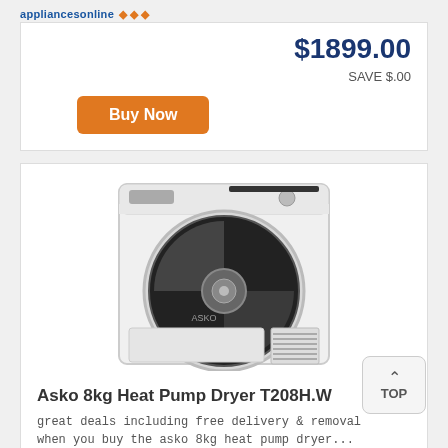appliancesonline
$1899.00
SAVE $.00
Buy Now
[Figure (photo): Asko 8kg Heat Pump Dryer T208H.W product image showing a white front-loading dryer with circular door]
Asko 8kg Heat Pump Dryer T208H.W
great deals including free delivery & removal when you buy the asko 8kg heat pump dryer...